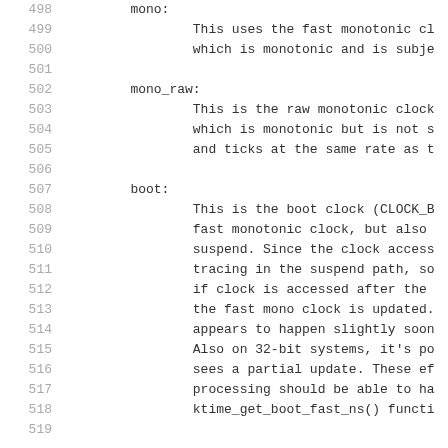498  mono:
499      This uses the fast monotonic cl
500      which is monotonic and is subje
501
502  mono_raw:
503      This is the raw monotonic clock
504      which is monotonic but is not s
505      and ticks at the same rate as t
506
507  boot:
508      This is the boot clock (CLOCK_B
509      fast monotonic clock, but also
510      suspend. Since the clock access
511      tracing in the suspend path, so
512      if clock is accessed after the
513      the fast mono clock is updated.
514      appears to happen slightly soon
515      Also on 32-bit systems, it's po
516      sees a partial update. These ef
517      processing should be able to ha
518      ktime_get_boot_fast_ns() functi
519